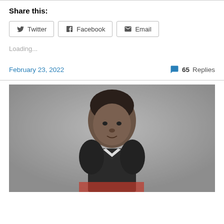Share this:
Twitter
Facebook
Email
Loading...
February 23, 2022
65 Replies
[Figure (photo): Black and white historical portrait photograph of a young Black woman with curly hair pulled up, wearing a dark dress with a bow/tie at the collar, looking directly at the camera.]